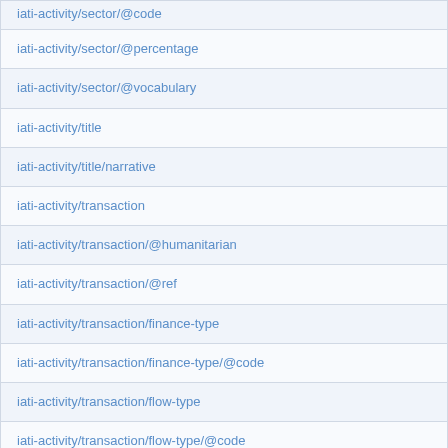| iati-activity/sector/@code |
| iati-activity/sector/@percentage |
| iati-activity/sector/@vocabulary |
| iati-activity/title |
| iati-activity/title/narrative |
| iati-activity/transaction |
| iati-activity/transaction/@humanitarian |
| iati-activity/transaction/@ref |
| iati-activity/transaction/finance-type |
| iati-activity/transaction/finance-type/@code |
| iati-activity/transaction/flow-type |
| iati-activity/transaction/flow-type/@code |
| iati-activity/transaction/provider-org |